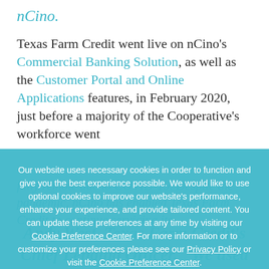nCino.
Texas Farm Credit went live on nCino's Commercial Banking Solution, as well as the Customer Portal and Online Applications features, in February 2020, just before a majority of the Cooperative's workforce went fully remote due to COVID-19. Despite the pandemic, nCino has enabled Texas Farm Credit to continue servicing its members and modernize its lending process, according to Andy West, Texas Farm Credit's Chief Lending Officer. "We used one for success."
Our website uses necessary cookies in order to function and give you the best experience possible. We would like to use optional cookies to improve our website's performance, enhance your experience, and provide tailored content. You can update these preferences at any time by visiting our Cookie Preference Center. For more information or to customize your preferences please see our Privacy Policy or visit the Cookie Preference Center.
Accept | Manage